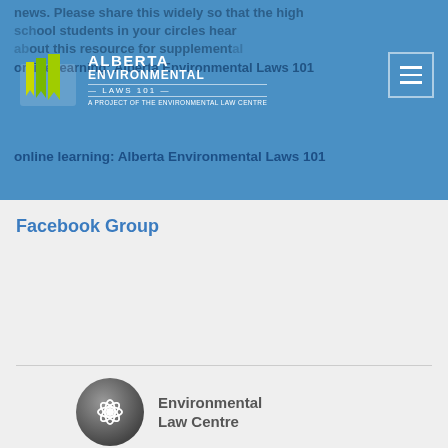news. Please share this widely so that the high school students in your circles hear about this resource for supplemental online learning: Alberta Environmental Laws 101 Facebook Group
[Figure (logo): Alberta Environmental Laws 101 logo — stylized book icon with green/yellow bookmark ribbons, white text 'ALBERTA ENVIRONMENTAL LAWS 101', tagline 'A PROJECT OF THE ENVIRONMENTAL LAW CENTRE']
Facebook Group
[Figure (logo): Environmental Law Centre circular logo with white leaf/flower graphic on dark grey background, beside text 'Environmental Law Centre']